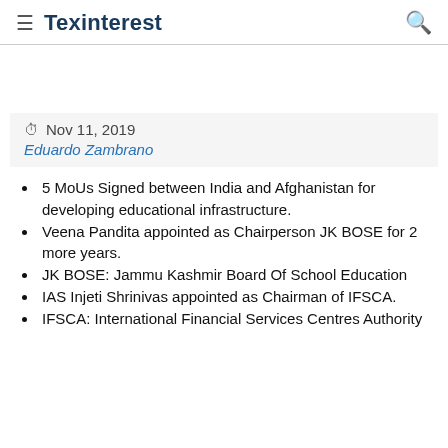Texinterest
Nov 11, 2019
Eduardo Zambrano
5 MoUs Signed between India and Afghanistan for developing educational infrastructure.
Veena Pandita appointed as Chairperson JK BOSE for 2 more years.
JK BOSE: Jammu Kashmir Board Of School Education
IAS Injeti Shrinivas appointed as Chairman of IFSCA.
IFSCA: International Financial Services Centres Authority